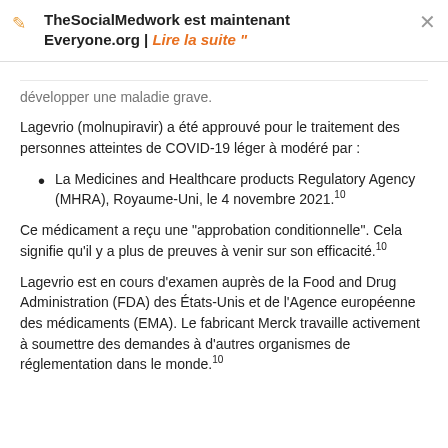TheSocialMedwork est maintenant Everyone.org | Lire la suite "
développer une maladie grave.
Lagevrio (molnupiravir) a été approuvé pour le traitement des personnes atteintes de COVID-19 léger à modéré par :
La Medicines and Healthcare products Regulatory Agency (MHRA), Royaume-Uni, le 4 novembre 2021.10
Ce médicament a reçu une "approbation conditionnelle". Cela signifie qu'il y a plus de preuves à venir sur son efficacité.10
Lagevrio est en cours d'examen auprès de la Food and Drug Administration (FDA) des États-Unis et de l'Agence européenne des médicaments (EMA). Le fabricant Merck travaille activement à soumettre des demandes à d'autres organismes de réglementation dans le monde.10